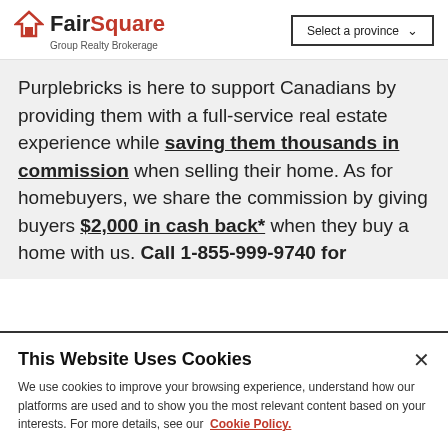[Figure (logo): FairSquare Group Realty Brokerage logo with red house icon]
Select a province
Purplebricks is here to support Canadians by providing them with a full-service real estate experience while saving them thousands in commission when selling their home. As for homebuyers, we share the commission by giving buyers $2,000 in cash back* when they buy a home with us. Call 1-855-999-9740 for
This Website Uses Cookies
We use cookies to improve your browsing experience, understand how our platforms are used and to show you the most relevant content based on your interests. For more details, see our Cookie Policy.